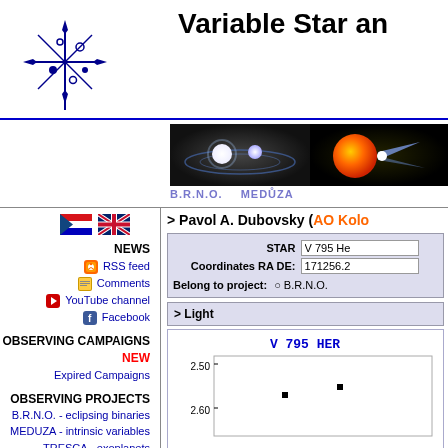Variable Star an
[Figure (illustration): Blue star/person logo for variable star organization]
[Figure (photo): Two astronomical images: binary star system and orange star with jet]
B.R.N.O.    MEDŮZA
[Figure (illustration): Czech flag and UK flag icons]
NEWS
RSS feed
Comments
YouTube channel
Facebook
OBSERVING CAMPAIGNS
NEW
Expired Campaigns
OBSERVING PROJECTS
B.R.N.O. - eclipsing binaries
MEDUZA - intrinsic variables
TRESCA - exoplanets
HERO - high energy objects
> Pavol A. Dubovsky (AO Kolo
| Field | Value |
| --- | --- |
| STAR | V 795 He |
| Coordinates RA DE: | 171256.2 |
| Belong to project: | B.R.N.O. |
> Light
[Figure (scatter-plot): Light curve scatter plot with y-axis showing magnitude values around 2.50-2.60]